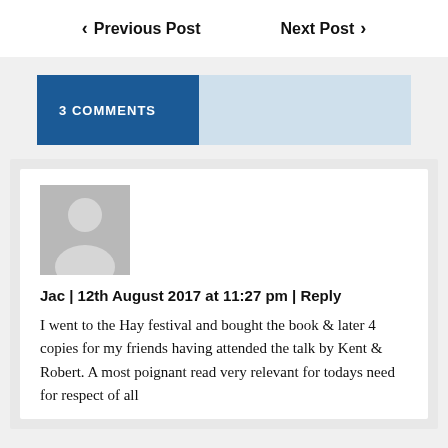< Previous Post   Next Post >
3 COMMENTS
[Figure (illustration): Grey avatar placeholder image with a person silhouette icon]
Jac | 12th August 2017 at 11:27 pm | Reply
I went to the Hay festival and bought the book & later 4 copies for my friends having attended the talk by Kent & Robert. A most poignant read very relevant for todays need for respect of all